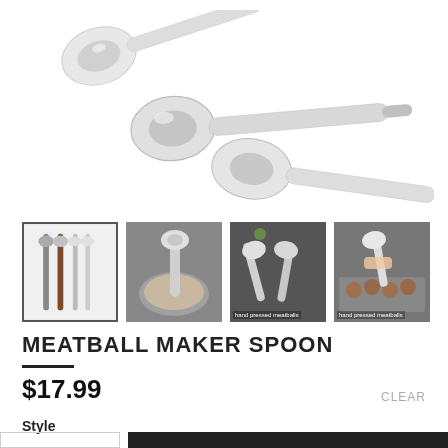[Figure (photo): Stainless steel meatball maker spoons displayed against a white background, showing 3 utensils with rounded scoop ends and long handles]
[Figure (photo): Thumbnail 1: Four meatball maker spoon variants including one with wooden handle]
[Figure (photo): Thumbnail 2: Meatball maker spoon being used with meat mixture in a bowl]
[Figure (photo): Thumbnail 3: Two meatball maker spoons on dark background with text 'hand pressed meatballs']
[Figure (photo): Thumbnail 4: Hands using meatball maker spoon over a tray of meatballs with text 'hand pressed meatballs']
MEATBALL MAKER SPOON
$17.99
CLEAR
Style